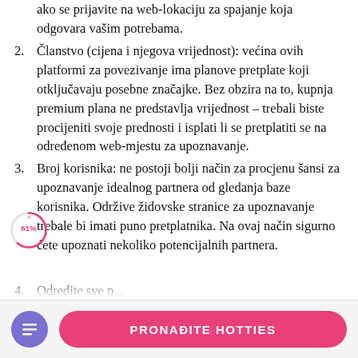ako se prijavite na web-lokaciju za spajanje koja odgovara vašim potrebama.
2. Članstvo (cijena i njegova vrijednost): većina ovih platformi za povezivanje ima planove pretplate koji otključavaju posebne značajke. Bez obzira na to, kupnja premium plana ne predstavlja vrijednost – trebali biste procijeniti svoje prednosti i isplati li se pretplatiti se na određenom web-mjestu za upoznavanje.
3. Broj korisnika: ne postoji bolji način za procjenu šansi za upoznavanje idealnog partnera od gledanja baze korisnika. Održive židovske stranice za upoznavanje trebale bi imati puno pretplatnika. Na ovaj način sigurno ćete upoznati nekoliko potencijalnih partnera.
4. [truncated]
[Figure (infographic): Circular progress indicator showing 61% with an upward arrow, pink/red outline circle]
PRONAĐITE HOTTIES